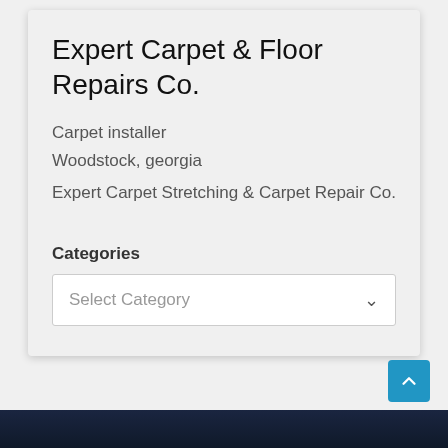Expert Carpet & Floor Repairs Co.
Carpet installer
Woodstock, georgia
Expert Carpet Stretching & Carpet Repair Co.
Categories
Select Category